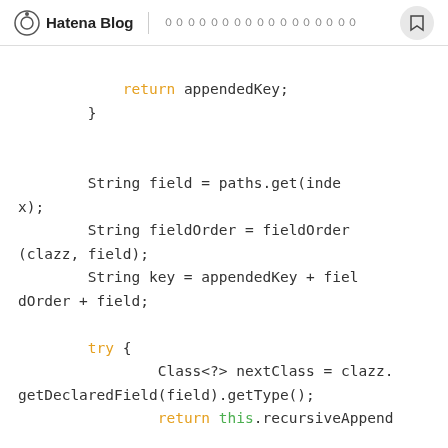Hatena Blog | ００００００００００００００００００
return appendedKey;
        }


        String field = paths.get(index);
        String fieldOrder = fieldOrder(clazz, field);
        String key = appendedKey + fieldOrder + field;

        try {
                Class<?> nextClass = clazz.getDeclaredField(field).getType();
                return this.recursiveAppend